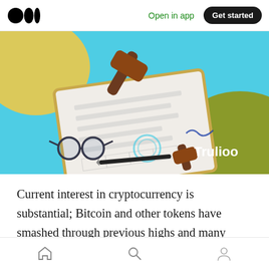Medium app navigation bar with logo, Open in app link, and Get started button
[Figure (illustration): Isometric illustration showing legal/compliance documents with a judge's gavel, glasses, pen, stamp, and signature on a clipboard. Trulioo brand logo in white text on olive-green background in bottom right corner. Blue and yellow background accents.]
Current interest in cryptocurrency is substantial; Bitcoin and other tokens have smashed through previous highs and many exchanges are scrambling to increase transaction capacity. However, all this industry buzz has drawn increasing scrutiny from
Bottom navigation bar with home, search, and profile icons